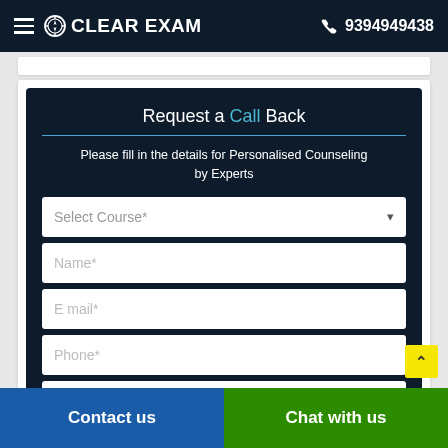CLEAR EXAM  9394949438
Request a Call Back
Please fill in the details for Personalised Counseling by Experts
Select Course*
Name*
E mail*
Phone*
Select Class*
Contact us   Chat with us